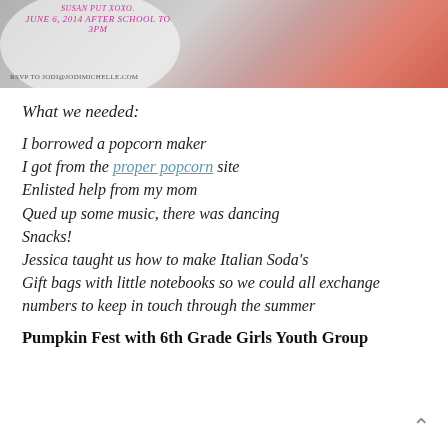[Figure (photo): A pink/coral colored photo banner showing an event invitation with text 'SUSAN PUT XOXO', 'JUNE 6, 2014 AFTER SCHOOL TO 3PM', 'RSVP TO JODI@JODIMICHELLE.COM' overlaid on a white oval, with a child in a pink shirt on the right side.]
What we needed:
I borrowed a popcorn maker
I got from the proper popcorn site
Enlisted help from my mom
Qued up some music, there was dancing
Snacks!
Jessica taught us how to make Italian Soda's
Gift bags with little notebooks so we could all exchange numbers to keep in touch through the summer
Pumpkin Fest with 6th Grade Girls Youth Group